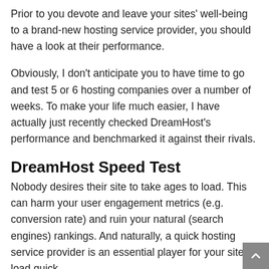Prior to you devote and leave your sites' well-being to a brand-new hosting service provider, you should have a look at their performance.
Obviously, I don't anticipate you to have time to go and test 5 or 6 hosting companies over a number of weeks. To make your life much easier, I have actually just recently checked DreamHost's performance and benchmarked it against their rivals.
DreamHost Speed Test
Nobody desires their site to take ages to load. This can harm your user engagement metrics (e.g. conversion rate) and ruin your natural (search engines) rankings. And naturally, a quick hosting service provider is an essential player for your site to load quick.